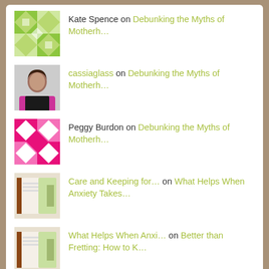Kate Spence on Debunking the Myths of Motherh...
cassiaglass on Debunking the Myths of Motherh...
Peggy Burdon on Debunking the Myths of Motherh...
Care and Keeping for... on What Helps When Anxiety Takes...
What Helps When Anxi... on Better than Fretting: How to K...
Archives
October 2020